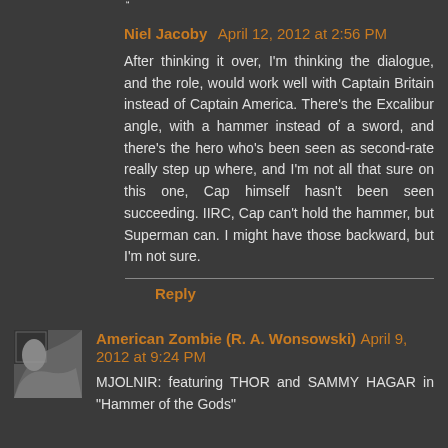· Niel Jacoby April 12, 2012 at 2:56 PM
After thinking it over, I'm thinking the dialogue, and the role, would work well with Captain Britain instead of Captain America. There's the Excalibur angle, with a hammer instead of a sword, and there's the hero who's been seen as second-rate really step up where, and I'm not all that sure on this one, Cap himself hasn't been seen succeeding. IIRC, Cap can't hold the hammer, but Superman can. I might have those backward, but I'm not sure.
Reply
American Zombie (R. A. Wonsowski) April 9, 2012 at 9:24 PM
MJOLNIR: featuring THOR and SAMMY HAGAR in "Hammer of the Gods"